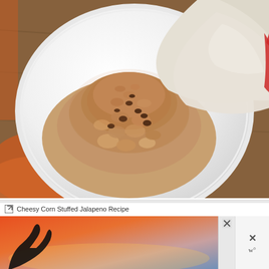[Figure (photo): Overhead view of a white ceramic bowl containing granola or oat-based cereal with raisins and cinnamon, topped with sliced red pear. The bowl is on a wooden surface with an orange cloth visible.]
Cheesy Corn Stuffed Jalapeno Recipe
[Figure (photo): Advertisement banner showing a person making a heart shape with their hands against a colorful sunset sky, with the text #ViralKindness. Has close buttons.]